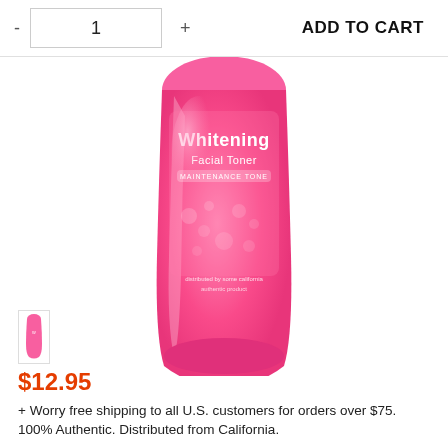- 1 + ADD TO CART
[Figure (photo): Pink bottle of Whitening Facial Toner product, partially cropped showing top portion of bottle with pink label and decorative floral design]
[Figure (photo): Small thumbnail image of the same pink Whitening Facial Toner bottle]
$12.95
+ Worry free shipping to all U.S. customers for orders over $75.
100% Authentic. Distributed from California.